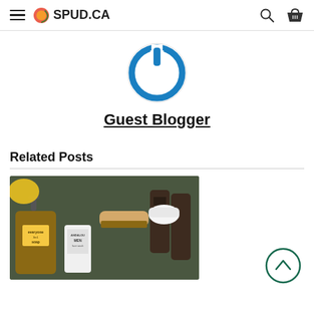≡ 🍎 SPUD.CA
[Figure (logo): Blue circular power button icon on white background]
Guest Blogger
Related Posts
[Figure (photo): Flat lay photo of men's grooming products including everyone 3in1 soap, Andalou MEN face wash, nail brush, and Every Man Jack products on dark green background]
[Figure (other): Scroll-to-top circular arrow button icon]